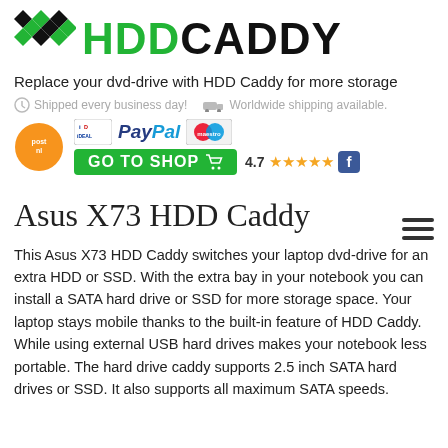[Figure (logo): HDD Caddy logo with diamond pattern and green HDD black CADDY text]
Replace your dvd-drive with HDD Caddy for more storage
Shipped every business day!   Worldwide shipping available.
[Figure (infographic): Payment logos: PostNL, iDEAL, PayPal, Maestro, GO TO SHOP button with cart icon, 4.7 star rating and Facebook icon]
Asus X73 HDD Caddy
This Asus X73 HDD Caddy switches your laptop dvd-drive for an extra HDD or SSD. With the extra bay in your notebook you can install a SATA hard drive or SSD for more storage space. Your laptop stays mobile thanks to the built-in feature of HDD Caddy. While using external USB hard drives makes your notebook less portable. The hard drive caddy supports 2.5 inch SATA hard drives or SSD. It also supports all maximum SATA speeds.